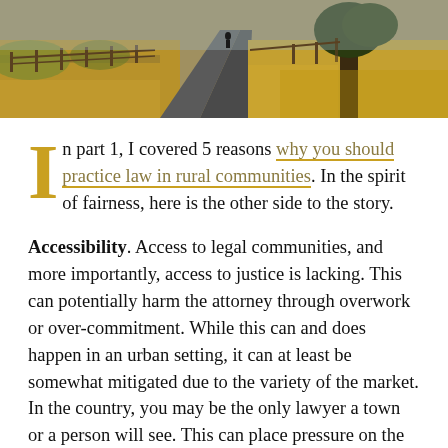[Figure (photo): A rural country road winding through golden autumn fields with trees and a fence on either side, with a person walking in the distance.]
In part 1, I covered 5 reasons why you should practice law in rural communities. In the spirit of fairness, here is the other side to the story.
Accessibility. Access to legal communities, and more importantly, access to justice is lacking. This can potentially harm the attorney through overwork or over-commitment. While this can and does happen in an urban setting, it can at least be somewhat mitigated due to the variety of the market. In the country, you may be the only lawyer a town or a person will see. This can place pressure on the new attorney who's just starting their practice by trying to be all things to everyone.